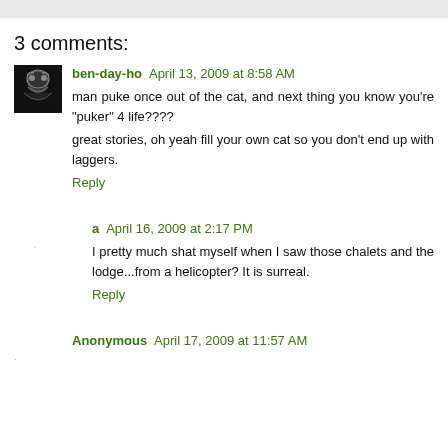3 comments:
ben-day-ho April 13, 2009 at 8:58 AM
man puke once out of the cat, and next thing you know you're "puker" 4 life????
great stories, oh yeah fill your own cat so you don't end up with laggers.
Reply
a April 16, 2009 at 2:17 PM
I pretty much shat myself when I saw those chalets and the lodge...from a helicopter? It is surreal.
Reply
Anonymous April 17, 2009 at 11:57 AM